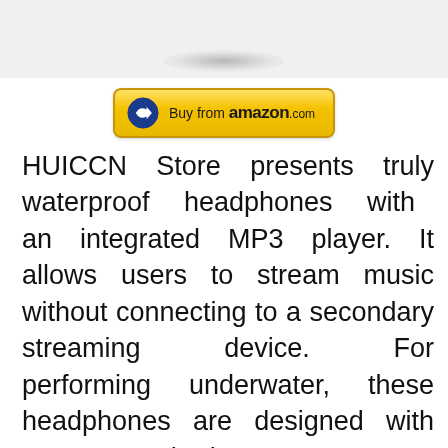[Figure (photo): Partial product image of waterproof headphones on a light gray background, with a shadow ellipse visible at the bottom of the image area.]
[Figure (other): Buy from amazon.com button with orange/yellow gradient background, Amazon arrow logo on the left, and 'Buy from amazon.com' text.]
HUICCN Store presents truly waterproof headphones with an integrated MP3 player. It allows users to stream music without connecting to a secondary streaming device. For performing underwater, these headphones are designed with IPX8 standards. Hence even when used for a long time underwater, they will